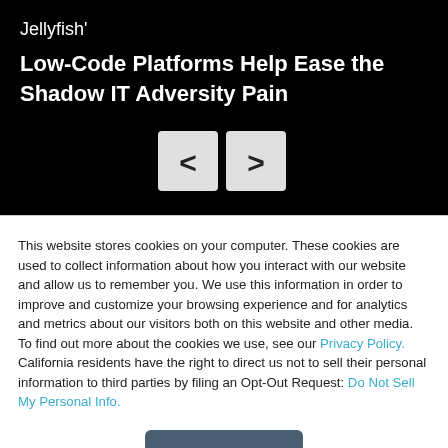Jellyfish'
Low-Code Platforms Help Ease the Shadow IT Adversity Pain
[Figure (other): Navigation buttons with left and right angle bracket arrows (< and >) on a black background]
This website stores cookies on your computer. These cookies are used to collect information about how you interact with our website and allow us to remember you. We use this information in order to improve and customize your browsing experience and for analytics and metrics about our visitors both on this website and other media. To find out more about the cookies we use, see our Privacy Policy. California residents have the right to direct us not to sell their personal information to third parties by filing an Opt-Out Request: Do Not Sell My Personal Info.
Accept